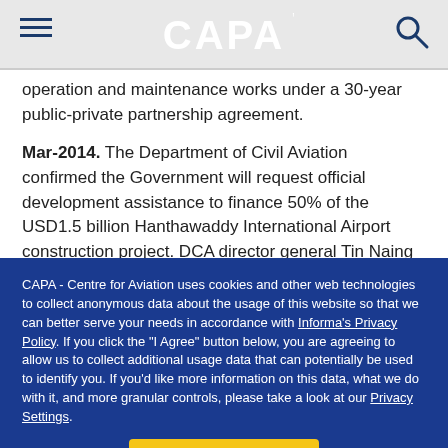CAPA
operation and maintenance works under a 30-year public-private partnership agreement.
Mar-2014. The Department of Civil Aviation confirmed the Government will request official development assistance to finance 50% of the USD1.5 billion Hanthawaddy International Airport construction project. DCA director general Tin Naing Tun stated the decision was made after negotiations between the
CAPA - Centre for Aviation uses cookies and other web technologies to collect anonymous data about the usage of this website so that we can better serve your needs in accordance with Informa's Privacy Policy. If you click the "I Agree" button below, you are agreeing to allow us to collect additional usage data that can potentially be used to identify you. If you'd like more information on this data, what we do with it, and more granular controls, please take a look at our Privacy Settings.
I Agree